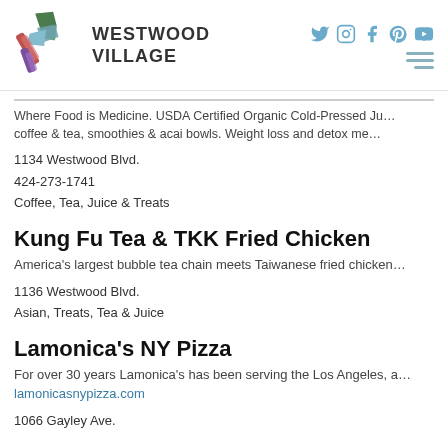[Figure (logo): Westwood Village logo with colorful geometric shapes and bold text WESTWOOD VILLAGE]
Where Food is Medicine. USDA Certified Organic Cold-Pressed Ju... coffee & tea, smoothies & acai bowls. Weight loss and detox me...
1134 Westwood Blvd.
424-273-1741
Coffee, Tea, Juice & Treats
Kung Fu Tea & TKK Fried Chicken
America's largest bubble tea chain meets Taiwanese fried chicken...
1136 Westwood Blvd.
Asian, Treats, Tea & Juice
Lamonica's NY Pizza
For over 30 years Lamonica's has been serving the Los Angeles, a... lamonicasnypizza.com
1066 Gayley Ave.